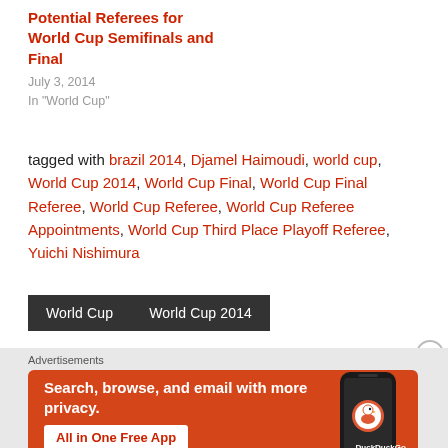Potential Referees for World Cup Semifinals and Final
July 3, 2014
In "World Cup"
tagged with brazil 2014, Djamel Haimoudi, world cup, World Cup 2014, World Cup Final, World Cup Final Referee, World Cup Referee, World Cup Referee Appointments, World Cup Third Place Playoff Referee, Yuichi Nishimura
World Cup
World Cup 2014
[Figure (infographic): DuckDuckGo advertisement banner: orange background with white text reading 'Search, browse, and email with more privacy. All in One Free App' and a phone mockup with DuckDuckGo logo.]